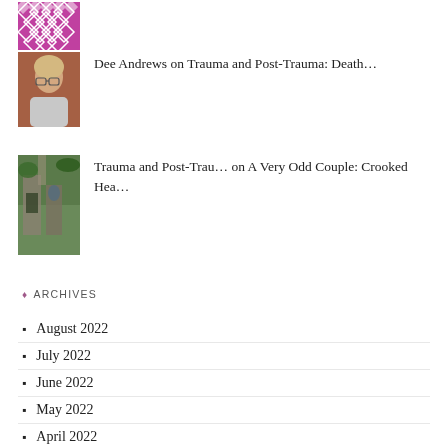[Figure (photo): Purple and white geometric/crosshatch pattern image thumbnail at top]
[Figure (photo): Photo of a woman with glasses and blonde hair (Dee Andrews)]
Dee Andrews on Trauma and Post-Trauma: Death…
[Figure (photo): Photo of old stone building ruins with vegetation (Trauma and Post-Trau…)]
Trauma and Post-Trau… on A Very Odd Couple: Crooked Hea…
♦ ARCHIVES
August 2022
July 2022
June 2022
May 2022
April 2022
March 2022
February 2022
January 2022